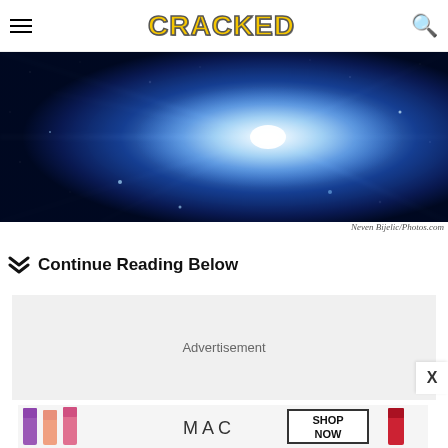CRACKED
[Figure (photo): A bright blue starburst light explosion against a dark starry space background, with rays of light emanating from the center.]
Neven Bijelic/Photos.com
Continue Reading Below
[Figure (other): Advertisement placeholder box with grey background]
[Figure (other): Bottom advertisement banner showing lipstick products and MAC cosmetics brand with SHOP NOW button]